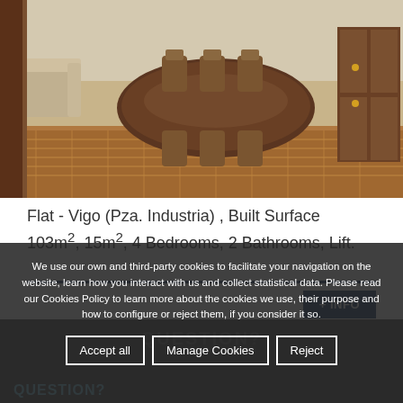[Figure (photo): Interior photo of a dining/living room with wooden table, chairs, sofa, wooden furniture and parquet flooring]
Flat - Vigo (Pza. Industria) , Built Surface 103m², 15m², 4 Bedrooms, 2 Bathrooms, Lift.
We use our own and third-party cookies to facilitate your navigation on the website, learn how you interact with us and collect statistical data. Please read our Cookies Policy to learn more about the cookies we use, their purpose and how to configure or reject them, if you consider it so.
Accept all    Manage Cookies    Reject